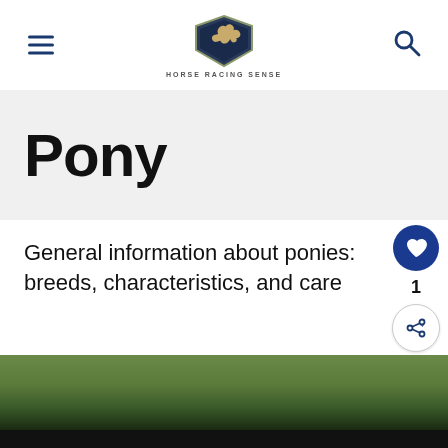HORSE RACING SENSE
Pony
General information about ponies: breeds, characteristics, and care
[Figure (photo): Photograph of a pony with green foliage/trees in the background, lower portion shows a dark/shadowed area]